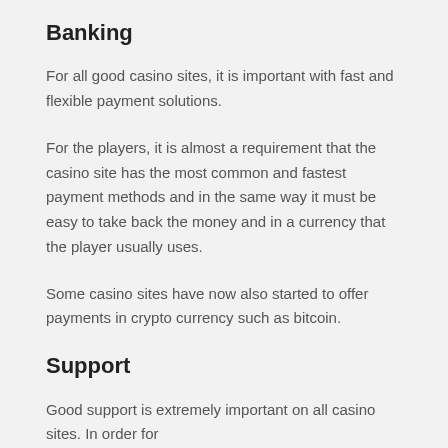Banking
For all good casino sites, it is important with fast and flexible payment solutions.
For the players, it is almost a requirement that the casino site has the most common and fastest payment methods and in the same way it must be easy to take back the money and in a currency that the player usually uses.
Some casino sites have now also started to offer payments in crypto currency such as bitcoin.
Support
Good support is extremely important on all casino sites. In order for